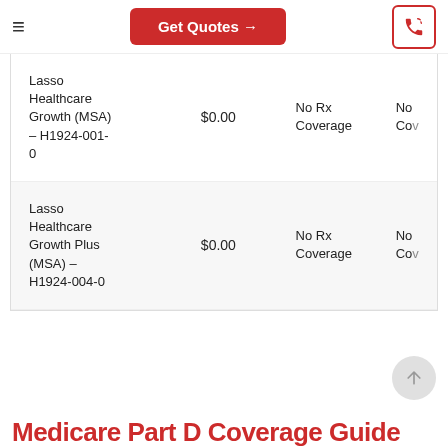Get Quotes →
| Plan Name | Price | Rx Coverage | Co... |
| --- | --- | --- | --- |
| Lasso Healthcare Growth (MSA) – H1924-001-0 | $0.00 | No Rx Coverage | No Co... |
| Lasso Healthcare Growth Plus (MSA) – H1924-004-0 | $0.00 | No Rx Coverage | No Co... |
Medicare Part D Coverage Guide...